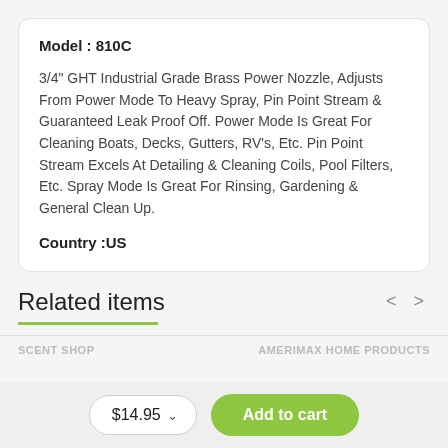Model : 810C
3/4" GHT Industrial Grade Brass Power Nozzle, Adjusts From Power Mode To Heavy Spray, Pin Point Stream & Guaranteed Leak Proof Off. Power Mode Is Great For Cleaning Boats, Decks, Gutters, RV's, Etc. Pin Point Stream Excels At Detailing & Cleaning Coils, Pool Filters, Etc. Spray Mode Is Great For Rinsing, Gardening & General Clean Up.
Country :US
Related items
SCENT SHOP
AMERIMAX HOME PRODUCTS
$14.95
Add to cart